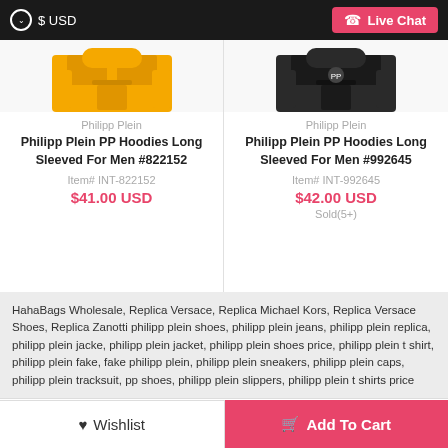$ USD  Live Chat
Philipp Plein
Philipp Plein PP Hoodies Long Sleeved For Men #822152
Item# INT-822152
$41.00 USD
Philipp Plein
Philipp Plein PP Hoodies Long Sleeved For Men #992645
Item# INT-992645
$42.00 USD
Sold(5+)
HahaBags Wholesale, Replica Versace, Replica Michael Kors, Replica Versace Shoes, Replica Zanotti philipp plein shoes, philipp plein jeans, philipp plein replica, philipp plein jacke, philipp plein jacket, philipp plein shoes price, philipp plein t shirt, philipp plein fake, fake philipp plein, philipp plein sneakers, philipp plein caps, philipp plein tracksuit, pp shoes, philipp plein slippers, philipp plein t shirts price
Contact Us
Send Payment Information
How To Select Size?
Shipping Guide
Return & Exchange
Wholesale & Discount
Customized Solutions
Wishlist
Add To Cart